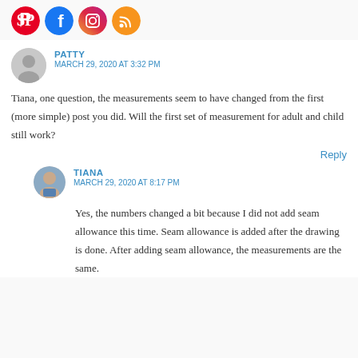[Figure (infographic): Social media icons: Pinterest (red), Facebook (blue), Instagram (purple/gradient), RSS (orange)]
PATTY
MARCH 29, 2020 AT 3:32 PM
Tiana, one question, the measurements seem to have changed from the first (more simple) post you did. Will the first set of measurement for adult and child still work?
Reply
TIANA
MARCH 29, 2020 AT 8:17 PM
Yes, the numbers changed a bit because I did not add seam allowance this time. Seam allowance is added after the drawing is done. After adding seam allowance, the measurements are the same.